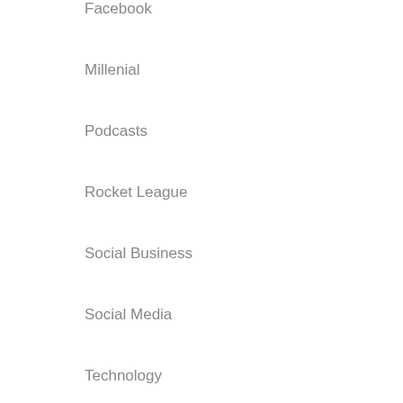Facebook
Millenial
Podcasts
Rocket League
Social Business
Social Media
Technology
The New Normal
Twitter
Uncategorized
Meta
Log in